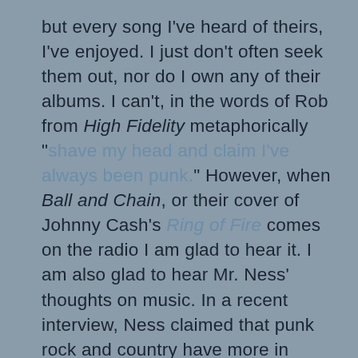but every song I've heard of theirs, I've enjoyed. I just don't often seek them out, nor do I own any of their albums. I can't, in the words of Rob from High Fidelity metaphorically "shave my head and claim I've always been punk." However, when Ball and Chain, or their cover of Johnny Cash's Ring of Fire comes on the radio I am glad to hear it. I am also glad to hear Mr. Ness' thoughts on music. In a recent interview, Ness claimed that punk rock and country have more in common than people are willing to admit. The reasoning behind this assertion is that both genres are class music. Which is to say they were both spawned and played by the working class. I couldn't agree more with this connection, and it may explain why many punk bands have at least one rockabilly song on their set list.

This class connection is reinforced perfectly in Social Distortion's latest video for their single Machine Gun Blues. In the video, Ness and his band mates channel